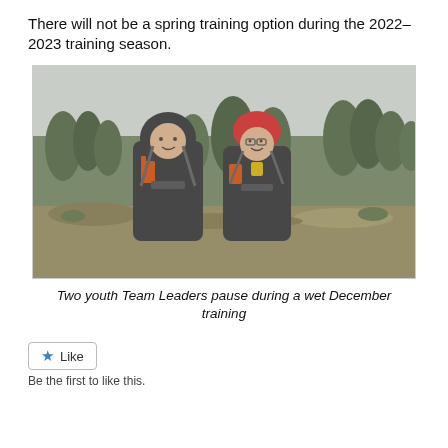There will not be a spring training option during the 2022–2023 training season.
[Figure (photo): Two youth Team Leaders wearing dark rain gear and harness vests with radios, standing outdoors in a forest clearing on an overcast, rainy day.]
Two youth Team Leaders pause during a wet December training
Like
Be the first to like this.